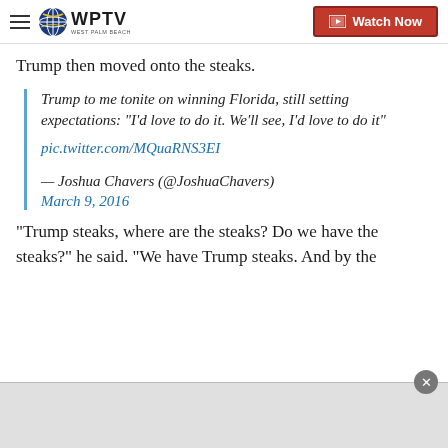WPTV — Watch Now
Trump then moved onto the steaks.
Trump to me tonite on winning Florida, still setting expectations: "I'd love to do it. We'll see, I'd love to do it" pic.twitter.com/MQuaRNS3EI

— Joshua Chavers (@JoshuaChavers)
March 9, 2016
"Trump steaks, where are the steaks? Do we have the steaks?" he said. "We have Trump steaks. And by the